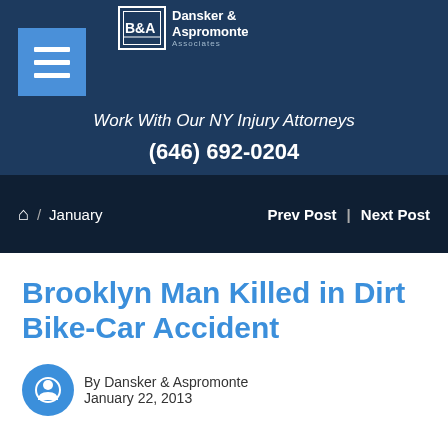Dansker & Aspromonte Associates – Work With Our NY Injury Attorneys (646) 692-0204
Home / January    Prev Post | Next Post
Brooklyn Man Killed in Dirt Bike-Car Accident
By Dansker & Aspromonte
January 22, 2013